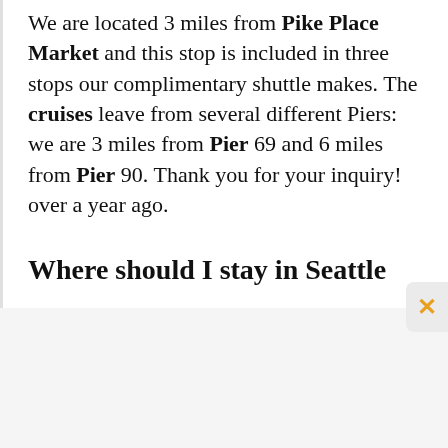We are located 3 miles from Pike Place Market and this stop is included in three stops our complimentary shuttle makes. The cruises leave from several different Piers: we are 3 miles from Pier 69 and 6 miles from Pier 90. Thank you for your inquiry! over a year ago.
Where should I stay in Seattle